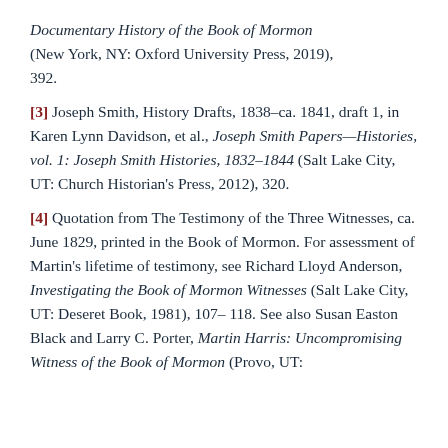Documentary History of the Book of Mormon (New York, NY: Oxford University Press, 2019), 392.
[3] Joseph Smith, History Drafts, 1838–ca. 1841, draft 1, in Karen Lynn Davidson, et al., Joseph Smith Papers—Histories, vol. 1: Joseph Smith Histories, 1832–1844 (Salt Lake City, UT: Church Historian's Press, 2012), 320.
[4] Quotation from The Testimony of the Three Witnesses, ca. June 1829, printed in the Book of Mormon. For assessment of Martin's lifetime of testimony, see Richard Lloyd Anderson, Investigating the Book of Mormon Witnesses (Salt Lake City, UT: Deseret Book, 1981), 107–118. See also Susan Easton Black and Larry C. Porter, Martin Harris: Uncompromising Witness of the Book of Mormon (Provo, UT: